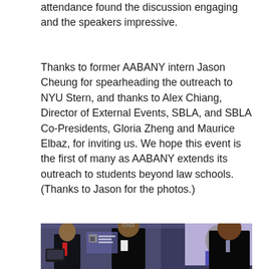attendance found the discussion engaging and the speakers impressive.
Thanks to former AABANY intern Jason Cheung for spearheading the outreach to NYU Stern, and thanks to Alex Chiang, Director of External Events, SBLA, and SBLA Co-Presidents, Gloria Zheng and Maurice Elbaz, for inviting us. We hope this event is the first of many as AABANY extends its outreach to students beyond law schools. (Thanks to Jason for the photos.)
[Figure (photo): Three men in business suits standing in a conference room. A presentation screen is visible in the background. The man on the left stands near a podium, the man in the center wears glasses and appears to be speaking, and the man on the right faces the center speaker.]